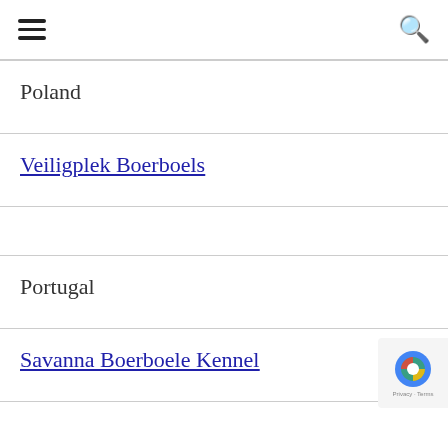≡  🔍
| Poland |
| Veiligplek Boerboels |
|  |
| Portugal |
| Savanna Boerboele Kennel |
|  |
| Moscow |
| Boerboelma... |